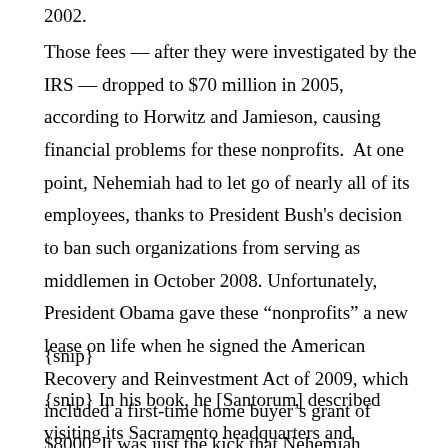2002.
Those fees — after they were investigated by the IRS — dropped to $70 million in 2005, according to Horwitz and Jamieson, causing financial problems for these nonprofits. At one point, Nehemiah had to let go of nearly all of its employees, thanks to President Bush's decision to ban such organizations from serving as middlemen in October 2008. Unfortunately, President Obama gave these “nonprofits” a new lease on life when he signed the American Recovery and Reinvestment Act of 2009, which included a first-time home buyer’s grant of $8000. It was just the kick that Nehemiah needed to get back into business.
{snip}
{snip} In his book, he [Santorum] described visiting its Sacramento headquarters and meeting Nicole Learned, a down-payment assistance supervisor. Santorum’s naivete is